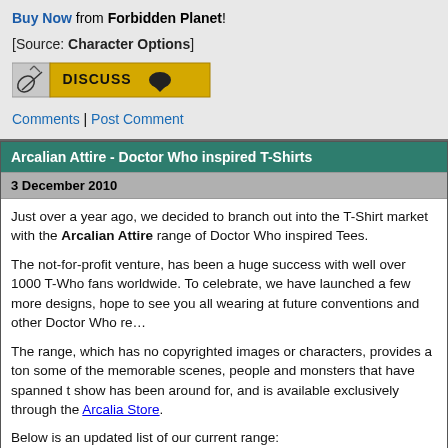Buy Now from Forbidden Planet!
[Source: Character Options]
[Figure (other): Discuss button with icon and speech bubble]
Comments | Post Comment
Arcalian Attire - Doctor Who inspired T-Shirts
3 December 2010
Just over a year ago, we decided to branch out into the T-Shirt market with the Arcalian Attire range of Doctor Who inspired Tees.
The not-for-profit venture, has been a huge success with well over 1000 T-Who fans worldwide. To celebrate, we have launched a few more designs, hope to see you all wearing at future conventions and other Doctor Who re…
The range, which has no copyrighted images or characters, provides a ton some of the memorable scenes, people and monsters that have spanned t show has been around for, and is available exclusively through the Arcalia Store.
Below is an updated list of our current range: